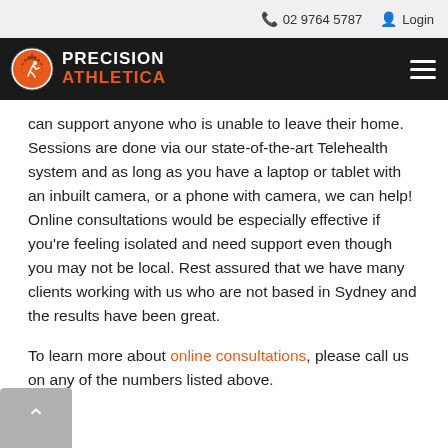02 9764 5787   Login
[Figure (logo): Precision Athletica logo with gear/runner icon on black navigation bar]
can support anyone who is unable to leave their home. Sessions are done via our state-of-the-art Telehealth system and as long as you have a laptop or tablet with an inbuilt camera, or a phone with camera, we can help! Online consultations would be especially effective if you’re feeling isolated and need support even though you may not be local. Rest assured that we have many clients working with us who are not based in Sydney and the results have been great.
To learn more about online consultations, please call us on any of the numbers listed above.